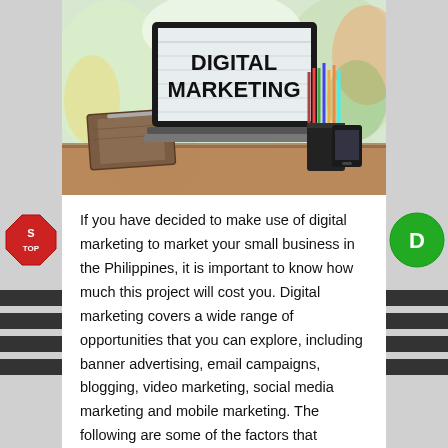[Figure (photo): Photo of a laptop on a desk displaying 'DIGITAL MARKETING' on screen, with colored pencils in a cup, a notebook, and a phone nearby. Blurred colorful background.]
If you have decided to make use of digital marketing to market your small business in the Philippines, it is important to know how much this project will cost you. Digital marketing covers a wide range of opportunities that you can explore, including banner advertising, email campaigns, blogging, video marketing, social media marketing and mobile marketing. The following are some of the factors that determine digital marketing cost Philippines.
One of the factors that affect the cost of digital marketing is